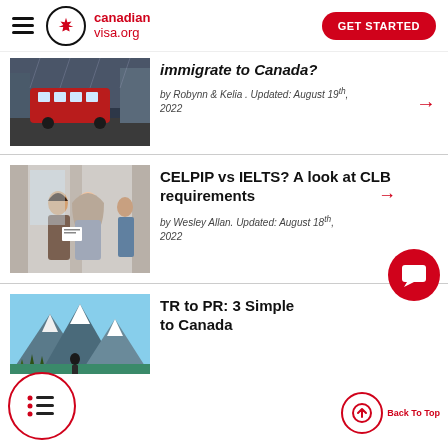canadianvisa.org — GET STARTED
immigrate to Canada?
by Robynn & Kelia . Updated: August 19th, 2022
CELPIP vs IELTS? A look at CLB requirements
by Wesley Allan. Updated: August 18th, 2022
TR to PR: 3 Simple Ways to Canada